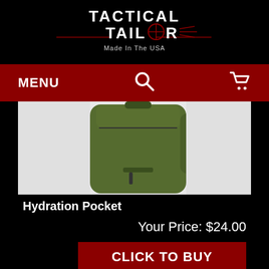[Figure (logo): Tactical Tailor logo — white distressed text 'TACTICAL TAILOR' with crosshair graphic and tagline 'Made In The USA' on black background]
MENU  [search icon]  [cart icon]
[Figure (photo): Close-up photo of an olive/army green military hydration pocket/backpack against white background]
Hydration Pocket
Your Price: $24.00
CLICK TO BUY